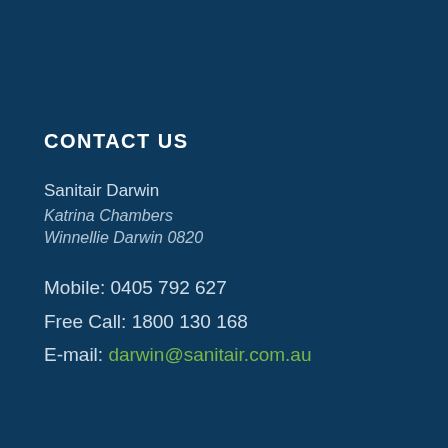CONTACT US
Sanitair Darwin
Katrina Chambers
Winnellie Darwin 0820
Mobile: 0405 792 627
Free Call: 1800 130 168
E-mail: darwin@sanitair.com.au